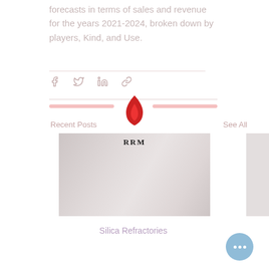forecasts in terms of sales and revenue for the years 2021-2024, broken down by players, Kind, and Use.
[Figure (other): Social sharing icons: Facebook, Twitter, LinkedIn, and link icons in muted pink/grey color]
[Figure (logo): RRM logo with red flame icon above the letters RRM in bold serif font]
Recent Posts
See All
[Figure (photo): Photo showing two people in white coats/uniforms looking upward outdoors, partially faded/washed out]
Silica Refractories